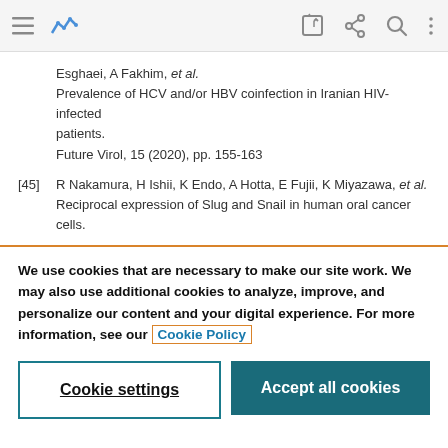Navigation bar with menu, logo, edit, share, search, and more icons
Esghaei, A Fakhim, et al.
Prevalence of HCV and/or HBV coinfection in Iranian HIV-infected patients.
Future Virol, 15 (2020), pp. 155-163
[45] R Nakamura, H Ishii, K Endo, A Hotta, E Fujii, K Miyazawa, et al. Reciprocal expression of Slug and Snail in human oral cancer cells.
We use cookies that are necessary to make our site work. We may also use additional cookies to analyze, improve, and personalize our content and your digital experience. For more information, see our Cookie Policy
Cookie settings
Accept all cookies